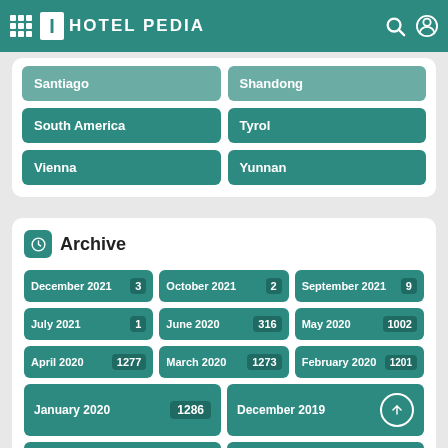HOTEL PEDIA
Santiago
Shandong
South America
Tyrol
Vienna
Yunnan
Archive
December 2021 3
October 2021 2
September 2021 9
July 2021 1
June 2020 316
May 2020 1002
April 2020 1277
March 2020 1273
February 2020 1201
January 2020 1286
December 2019
November 2019 1201
October 2019 1090